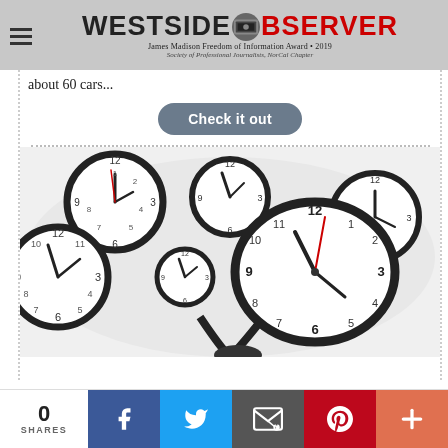WESTSIDE OBSERVER — James Madison Freedom of Information Award • 2019 — Society of Professional Journalists, NorCal Chapter
about 60 cars...
Check it out
[Figure (photo): Oval-shaped photo of multiple clocks in surreal, melting/scattered arrangement on a white background]
0 SHARES